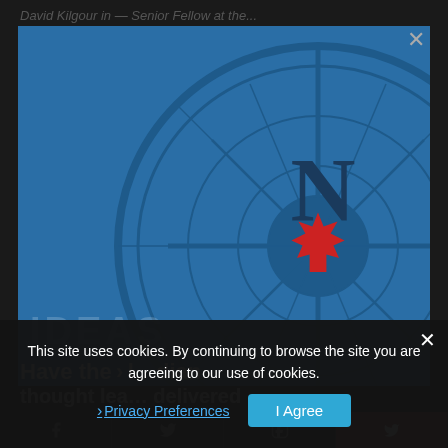David Kilgour in — Senior Fellow at the...
[Figure (illustration): Blue compass rose illustration with a red maple leaf at center, on a steel blue background. The compass shows a large N for North at the top. This appears to be the logo/header image for a Canadian think-tank or publication modal popup.]
IDEAS
Have the l... dian thought lea... delivered
This site uses cookies. By continuing to browse the site you are agreeing to our use of cookies.
Privacy Preferences
I Agree